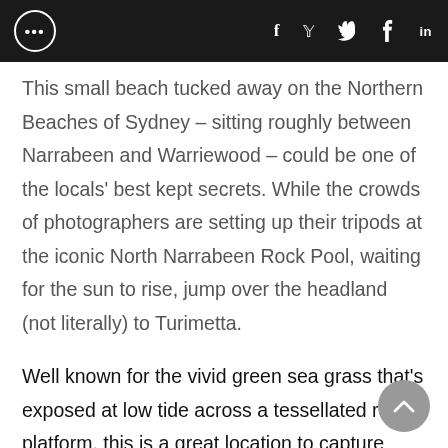... f y p in
This small beach tucked away on the Northern Beaches of Sydney – sitting roughly between Narrabeen and Warriewood – could be one of the locals' best kept secrets. While the crowds of photographers are setting up their tripods at the iconic North Narrabeen Rock Pool, waiting for the sun to rise, jump over the headland (not literally) to Turimetta.
Well known for the vivid green sea grass that's exposed at low tide across a tessellated rock platform, this is a great location to capture long exposures.